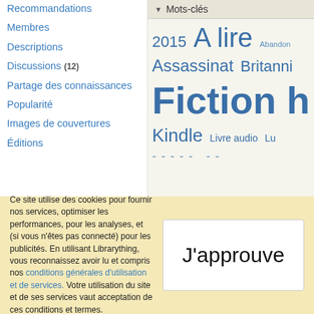Recommandations
Membres
Descriptions
Discussions (12)
Partage des connaissances
Popularité
Images de couvertures
Éditions
▼ Mots-clés
[Figure (infographic): Word cloud showing tags: 2015, A lire, Abandonné, Assassinat, Britannic, Fiction historique, Kindle, Livre audio, Lu]
Ce site utilise des cookies pour fournir nos services, optimiser les performances, pour les analyses, et (si vous n'êtes pas connecté) pour les publicités. En utilisant Librarything, vous reconnaissez avoir lu et compris nos conditions générales d'utilisation et de services. Votre utilisation du site et de ses services vaut acceptation de ces conditions et termes.
J'approuve